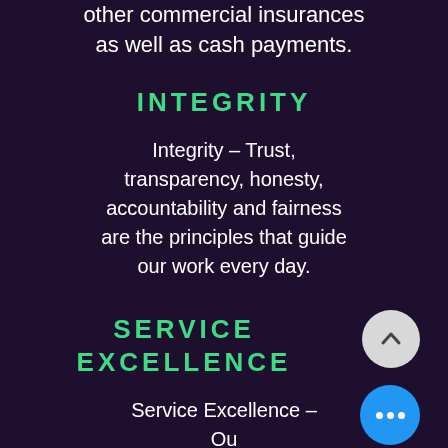other commercial insurances as well as cash payments.
INTEGRITY
Integrity – Trust, transparency, honesty, accountability and fairness are the principles that guide our work every day.
SERVICE EXCELLENCE
Service Excellence – Our patients' well-being is our